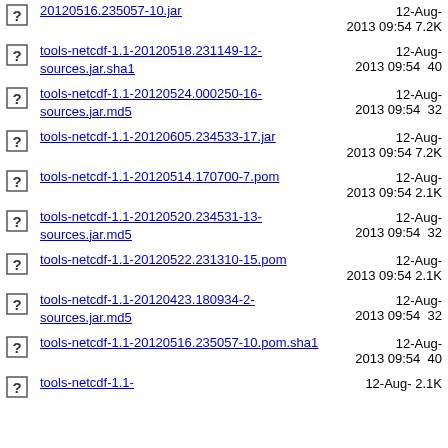20120516.235057-10.jar  12-Aug-2013 09:54  7.2K
tools-netcdf-1.1-20120518.231149-12-sources.jar.sha1  12-Aug-2013 09:54  40
tools-netcdf-1.1-20120524.000250-16-sources.jar.md5  12-Aug-2013 09:54  32
tools-netcdf-1.1-20120605.234533-17.jar  12-Aug-2013 09:54  7.2K
tools-netcdf-1.1-20120514.170700-7.pom  12-Aug-2013 09:54  2.1K
tools-netcdf-1.1-20120520.234531-13-sources.jar.md5  12-Aug-2013 09:54  32
tools-netcdf-1.1-20120522.231310-15.pom  12-Aug-2013 09:54  2.1K
tools-netcdf-1.1-20120423.180934-2-sources.jar.md5  12-Aug-2013 09:54  32
tools-netcdf-1.1-20120516.235057-10.pom.sha1  12-Aug-2013 09:54  40
tools-netcdf-1.1-  12-Aug-  2.1K